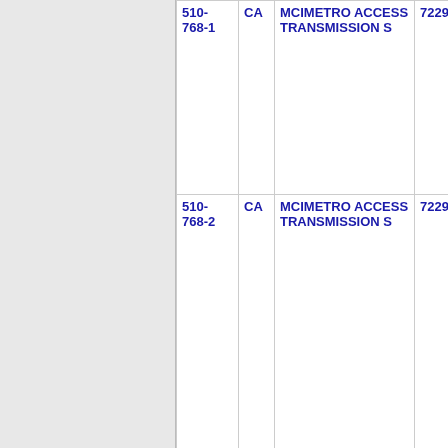| Phone | State | Name | Number | Extra |
| --- | --- | --- | --- | --- |
| 510-768-1 | CA | MCIMETRO ACCESS TRANSMISSION S | 7229 |  |
| 510-768-2 | CA | MCIMETRO ACCESS TRANSMISSION S | 7229 |  |